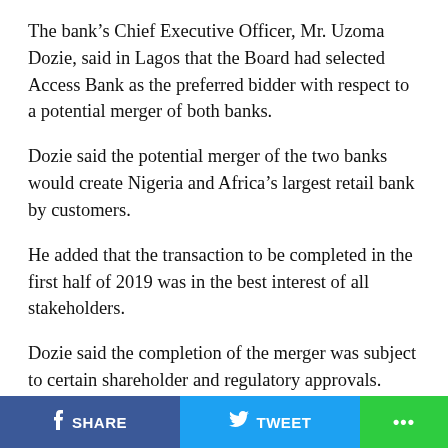The bank’s Chief Executive Officer, Mr. Uzoma Dozie, said in Lagos that the Board had selected Access Bank as the preferred bidder with respect to a potential merger of both banks.
Dozie said the potential merger of the two banks would create Nigeria and Africa’s largest retail bank by customers.
He added that the transaction to be completed in the first half of 2019 was in the best interest of all stakeholders.
Dozie said the completion of the merger was subject to certain shareholder and regulatory approvals.
“The proposed merger would involve Access Bank acquiring the entire issued share capital of Diamond
f SHARE   TWEET   ...